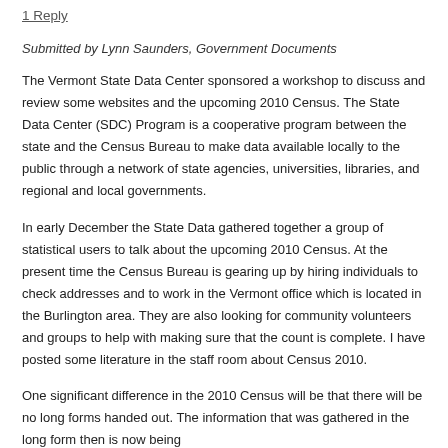1 Reply
Submitted by Lynn Saunders, Government Documents
The Vermont State Data Center sponsored a workshop to discuss and review some websites and the upcoming 2010 Census. The State Data Center (SDC) Program is a cooperative program between the state and the Census Bureau to make data available locally to the public through a network of state agencies, universities, libraries, and regional and local governments.
In early December the State Data gathered together a group of statistical users to talk about the upcoming 2010 Census. At the present time the Census Bureau is gearing up by hiring individuals to check addresses and to work in the Vermont office which is located in the Burlington area. They are also looking for community volunteers and groups to help with making sure that the count is complete. I have posted some literature in the staff room about Census 2010.
One significant difference in the 2010 Census will be that there will be no long forms handed out. The information that was gathered in the long form then is now being